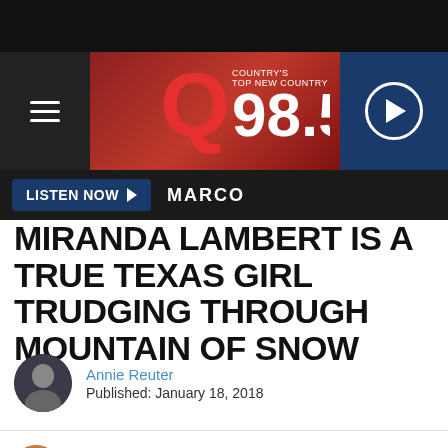[Figure (screenshot): Q98.5 radio station website header banner with logo and hamburger menu]
LISTEN NOW ▶  MARCO
MIRANDA LAMBERT IS A TRUE TEXAS GIRL TRUDGING THROUGH MOUNTAIN OF SNOW
Annie Reuter
Published: January 18, 2018
[Figure (screenshot): Instagram embed card: mirandalambert with verified badge, 4.6M followers, View profile button]